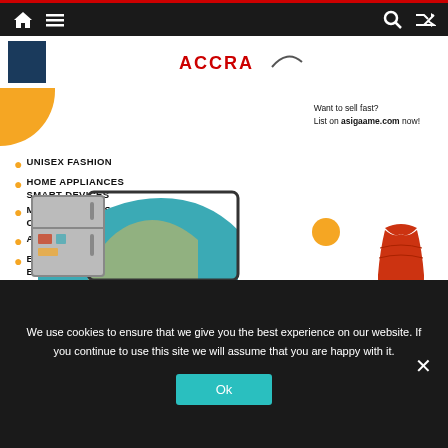Navigation bar with home icon, menu icon, search icon, shuffle icon
[Figure (logo): Blue box logo on left, ACCRA text logo in center with swoosh mark]
Want to sell fast? List on asigaame.com now!
UNISEX FASHION
HOME APPLIANCES SMART DEVICES
MOBILE PHONES, COMPUTERS, & LAPTOPS
AUTOMOBILE SPARE PARTS
ELECTROLAND PRODUCTS BRANDS & ACCESSORIES
[Figure (illustration): Advertisement image showing a red dress, orange circle, a TV and fridge against a teal/blue background]
We use cookies to ensure that we give you the best experience on our website. If you continue to use this site we will assume that you are happy with it.
Ok